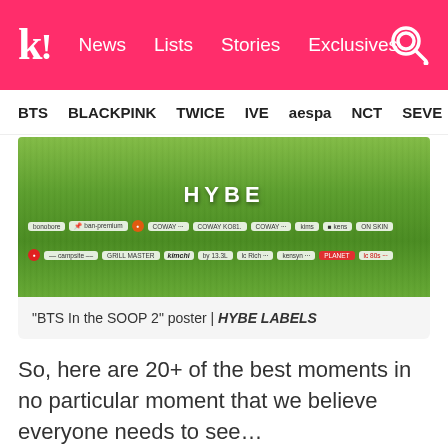k! News Lists Stories Exclusives
BTS BLACKPINK TWICE IVE aespa NCT SEVE
[Figure (photo): BTS In the SOOP 2 poster showing grass field with HYBE text and sponsor logos]
“BTS In the SOOP 2” poster | HYBE LABELS
So, here are 20+ of the best moments in no particular moment that we believe everyone needs to see…
1. Excited about food
hourly yoongi